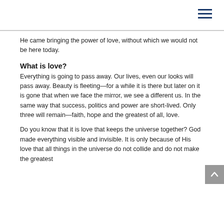He came bringing the power of love, without which we would not be here today.
What is love?
Everything is going to pass away. Our lives, even our looks will pass away. Beauty is fleeting—for a while it is there but later on it is gone that when we face the mirror, we see a different us. In the same way that success, politics and power are short-lived. Only three will remain—faith, hope and the greatest of all, love.
Do you know that it is love that keeps the universe together? God made everything visible and invisible. It is only because of His love that all things in the universe do not collide and do not make the greatest